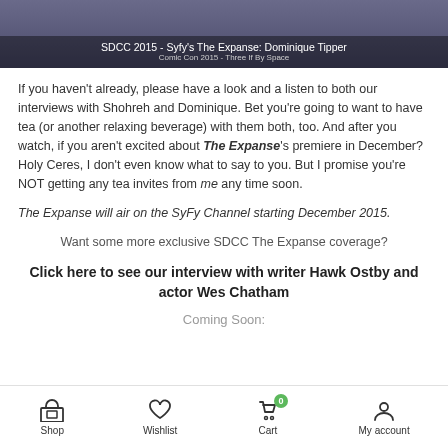[Figure (photo): Banner image showing SDCC 2015 - Syfy's The Expanse: Dominique Tipper, with subtitle 'Comic Con 2015 - Three If By Space']
If you haven't already, please have a look and a listen to both our interviews with Shohreh and Dominique. Bet you're going to want to have tea (or another relaxing beverage) with them both, too. And after you watch, if you aren't excited about The Expanse's premiere in December? Holy Ceres, I don't even know what to say to you. But I promise you're NOT getting any tea invites from me any time soon.
The Expanse will air on the SyFy Channel starting December 2015.
Want some more exclusive SDCC The Expanse coverage?
Click here to see our interview with writer Hawk Ostby and actor Wes Chatham
Coming Soon:
Shop   Wishlist   Cart (0)   My account